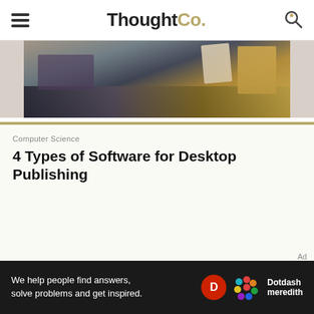ThoughtCo.
[Figure (photo): Overhead or angled view of a desk with various items including what appears to be papers, books, and wooden/textile objects]
Computer Science
4 Types of Software for Desktop Publishing
[Figure (infographic): Dotdash Meredith footer advertisement: 'We help people find answers, solve problems and get inspired.' with Dotdash D logo and Meredith flower logo]